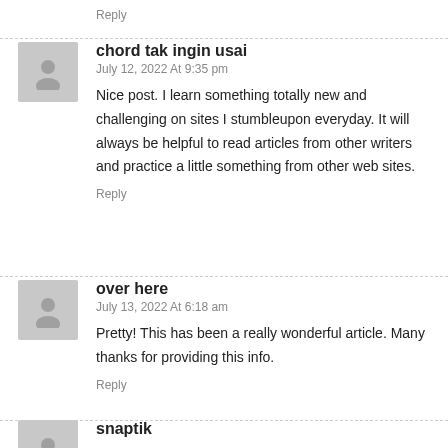Reply
chord tak ingin usai
July 12, 2022 At 9:35 pm
Nice post. I learn something totally new and challenging on sites I stumbleupon everyday. It will always be helpful to read articles from other writers and practice a little something from other web sites.
Reply
over here
July 13, 2022 At 6:18 am
Pretty! This has been a really wonderful article. Many thanks for providing this info.
Reply
snaptik